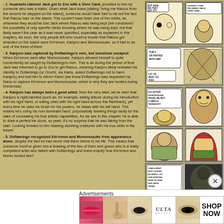- 1: Inuarashi claimed Jack got to Zou with a Vivre Card, provided to him by someone who was a traitor. Given what Jack knew (stating "bring me Raizou from the second he stepped on the island"), someone would have had to rat out the fact that Raizou was on the island. This couldn't have been one of the minks, as otherwise they would've told Jack where Raizou was being kept (we considered the possibility of only specific minks knowing where he was being kept, but that likely wasn't the case as it was never specified, especially as explained in this chapter). As such, the only people left who could've known that Raizou got stranded on the island were Kin'emon, Kanjuro and Momonosuke, so it had to be one of the three of them
- 3: Kanjuro was captured by Doflamingo's men, but somehow escaped: When Kin'emon went after Momonosuke, Kanjuro allowed himself to quite conveniently be caught by Doflamingo's men. This is all during the period of time Jack was informed to go to Zou to get Raizou, meaning Kanjuro likely revealed his identity to Doflamingo (or Orochi, via Kaido, asked Doflamingo not to harm Kanjuro) and told him to inform Kaido (we know Doflamingo was requested by Kaido to capture Kin'emon and Momonosuke, which is why they are hunted during Dressrosa)
- 4: Kanjuro has always been a good artist: from the very start, we've seen that Kanjuro is right-handed (such as, for example, eating lettuce during his introduction with his right hand, or eating oden with his right hand across this flashback), yet every time he uses his brush for his powers, he draws with his left hand. This means he's using his non-dominant hand, purposefully drawing things badly for the sake of concealing his true artistic capabilities. As we see in this chapter, he is able to draw a perfect ink clone, so yeah, it's no surprise that he was faking from the start. Looking forward to him drawing stunning creatures with his true skills in the future!
- 5: Doflamingo recognized Kin'emon and Momonosuke from appearance alone, despite the fact he had never met them before in his life. This means that someone must've given him a drawing of the two of them and guess who is a really competent artist who talked with Doflamingo and knew exactly how Kin'emon and Momo looked like?
[Figure (illustration): Manga panel - two speech bubbles: 'BUT HOW DID THEY GET IT?!' and 'I SUSPECT THAT THE ENEMY HAS A VIVRE CARD...']
[Figure (illustration): Manga panel with action/fighting scene, speech bubble text partially visible]
[Figure (illustration): Manga panel - 'GO AFTER MOMONOSUKE! SPARE ME NOT A SINGLE THOUGHT!!']
[Figure (illustration): Manga panel - character face close-up]
[Figure (illustration): Manga panel - colorful character with red/green]
[Figure (illustration): Manga panel - character face]
[Figure (illustration): Manga panel - colorful scene]
[Figure (illustration): Manga panel - speech bubble: 'I SAW A BRAT WHO LOOKED AN AWFUL LOT LIKE MOMONO-SUKE ON THAT SHIP, BACK THERE.']
Advertisements
[Figure (photo): Ulta Beauty advertisement banner with makeup imagery and SHOP NOW text]